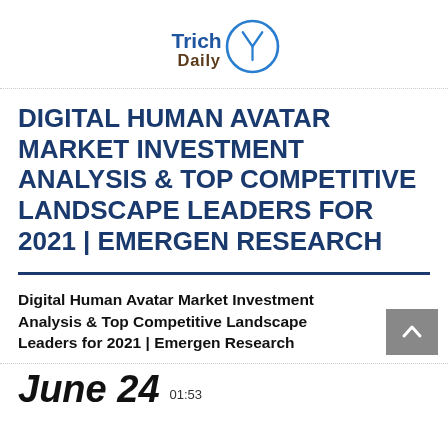[Figure (logo): TrichDaily logo — stylized text 'Trich' in blue bold and 'Daily' below in dark brown, with a circular swoosh/checkmark graphic in blue on the right]
DIGITAL HUMAN AVATAR MARKET INVESTMENT ANALYSIS & TOP COMPETITIVE LANDSCAPE LEADERS FOR 2021 | EMERGEN RESEARCH
Digital Human Avatar Market Investment Analysis & Top Competitive Landscape Leaders for 2021 | Emergen Research
June 24  01:53